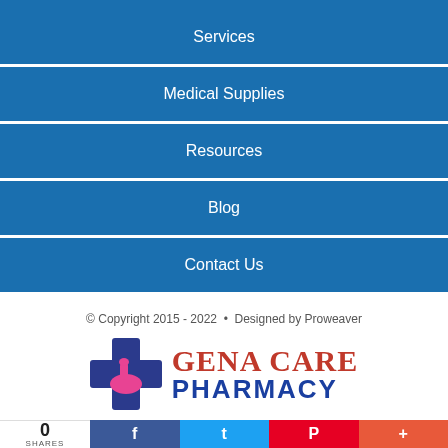Services
Medical Supplies
Resources
Blog
Contact Us
© Copyright 2015 - 2022  •  Designed by Proweaver
[Figure (logo): Gena Care Pharmacy logo with blue cross and mortar/pestle icon, red 'Gena Care' text and blue 'PHARMACY' text]
0 SHARES  [Facebook] [Twitter] [Pinterest] [Plus]